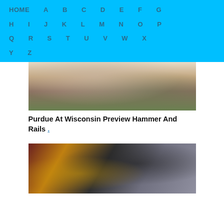HOME A B C D E F G H I J K L M N O P Q R S T U V W X Y Z
[Figure (photo): Football game action photo showing player in white uniform]
Purdue At Wisconsin Preview Hammer And Rails .
[Figure (photo): Football game action photo showing player in dark Purdue uniform running with ball against Minnesota defender in maroon helmet]